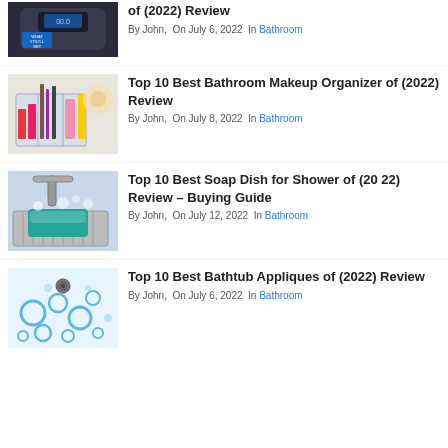[Figure (photo): Partial image of a bathroom scale (black, with blue digital display), cropped at top]
of (2022) Review
By John,  On July 6, 2022  In Bathroom
[Figure (photo): Acrylic bathroom makeup organizer filled with cosmetics, nail polish, and brushes]
Top 10 Best Bathroom Makeup Organizer of (2022) Review
By John,  On July 8, 2022  In Bathroom
[Figure (photo): Stainless steel soap dish holder over a sink with a green sponge and soap suds]
Top 10 Best Soap Dish for Shower of (2022) Review – Buying Guide
By John,  On July 12, 2022  In Bathroom
[Figure (photo): Light blue bathtub with circular blue applique stickers for non-slip decoration]
Top 10 Best Bathtub Appliques of (2022) Review
By John,  On July 6, 2022  In Bathroom